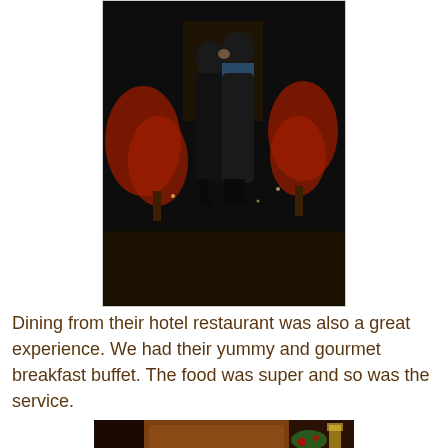[Figure (photo): A couple kissing outdoors at night in front of red illuminated trees, both dressed in dark coats]
Dining from their hotel restaurant was also a great experience. We had their yummy and gourmet breakfast buffet. The food was super and so was the service.
[Figure (photo): A woman standing inside what appears to be a hotel restaurant entrance, decorated with Christmas garland]